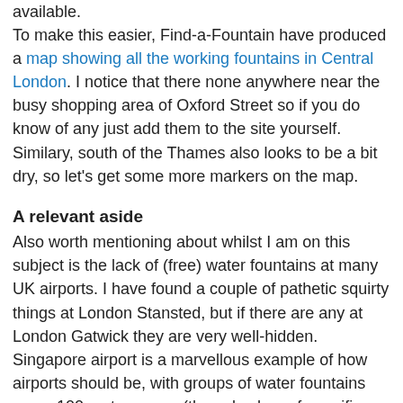available.
To make this easier, Find-a-Fountain have produced a map showing all the working fountains in Central London. I notice that there none anywhere near the busy shopping area of Oxford Street so if you do know of any just add them to the site yourself. Similary, south of the Thames also looks to be a bit dry, so let's get some more markers on the map.
A relevant aside
Also worth mentioning about whilst I am on this subject is the lack of (free) water fountains at many UK airports. I have found a couple of pathetic squirty things at London Stansted, but if there are any at London Gatwick they are very well-hidden.
Singapore airport is a marvellous example of how airports should be, with groups of water fountains every 100 metres or so (they also have free wifi terminals and lovely gardens too – you could actually live in that airport!). But airports in other countries, especially those in hot countries, are not providing fee water and are instead cashing in on their dehydrated 'customers'/travellers. Here's a tip: when I travel back from Turkey I always take an empty bottle through